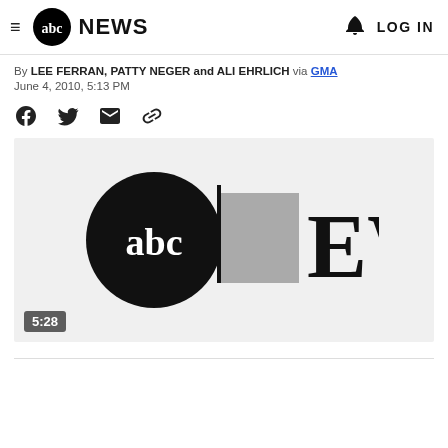abc NEWS  LOG IN
By LEE FERRAN, PATTY NEGER and ALI EHRLICH via GMA
June 4, 2010, 5:13 PM
[Figure (other): Share icons: Facebook, Twitter, Email, Link]
[Figure (screenshot): ABC News video thumbnail showing abc NEWS logo with a gray blocked area over the N, duration 5:28]